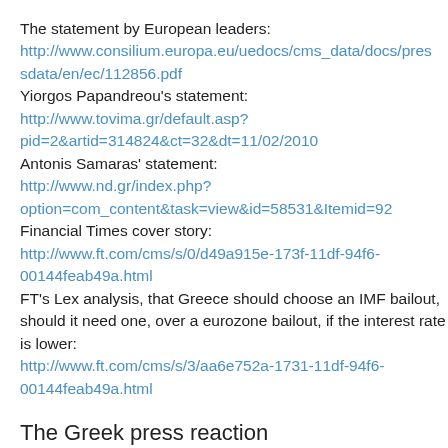The statement by European leaders:
http://www.consilium.europa.eu/uedocs/cms_data/docs/pressdata/en/ec/112856.pdf
Yiorgos Papandreou's statement:
http://www.tovima.gr/default.asp?pid=2&artid=314824&ct=32&dt=11/02/2010
Antonis Samaras' statement:
http://www.nd.gr/index.php?option=com_content&task=view&id=58531&Itemid=92
Financial Times cover story:
http://www.ft.com/cms/s/0/d49a915e-173f-11df-94f6-00144feab49a.html
FT's Lex analysis, that Greece should choose an IMF bailout, should it need one, over a eurozone bailout, if the interest rate is lower:
http://www.ft.com/cms/s/3/aa6e752a-1731-11df-94f6-00144feab49a.html
The Greek press reaction
Kathimerini (nominally conservative): "We should pause today and ask ourselves what led us to the brink of